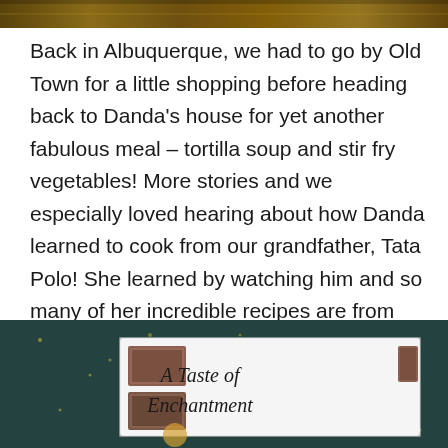[Figure (photo): Top strip of a photograph showing a scene, partially cut off at top of page]
Back in Albuquerque, we had to go by Old Town for a little shopping before heading back to Danda's house for yet another fabulous meal – tortilla soup and stir fry vegetables!  More stories and we especially loved hearing about how Danda learned to cook from our grandfather, Tata Polo!  She learned by watching him and so many of her incredible recipes are from our grandfather.  At the end of the evening, Danda gave us each a recipe book from Albuquerque with a sweet inscription.  We finished out the evening looking through a box of old photos with Danda promising to make copies and send to us.
[Figure (photo): Photo of a recipe book titled 'A Taste of Enchantment' on a dark speckled surface, with decorative stamps/images on the cover]